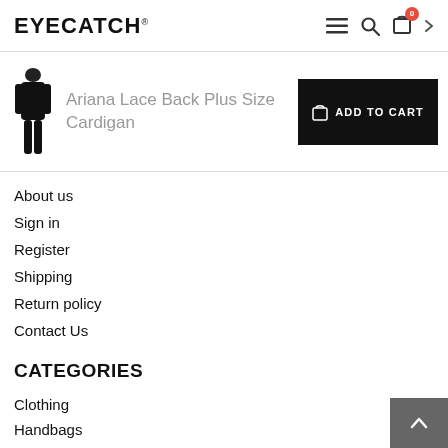EYECATCH®
Ariana Lace Back Plus Size Cardigan
About us
Sign in
Register
Shipping
Return policy
Contact Us
CATEGORIES
Clothing
Handbags
Shoes